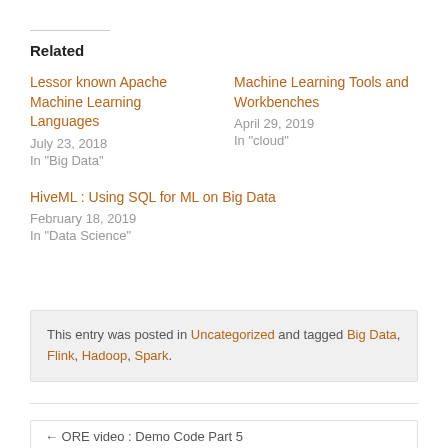Related
Lessor known Apache Machine Learning Languages
July 23, 2018
In "Big Data"
Machine Learning Tools and Workbenches
April 29, 2019
In "cloud"
HiveML : Using SQL for ML on Big Data
February 18, 2019
In "Data Science"
This entry was posted in Uncategorized and tagged Big Data, Flink, Hadoop, Spark.
← ORE video : Demo Code Part 5